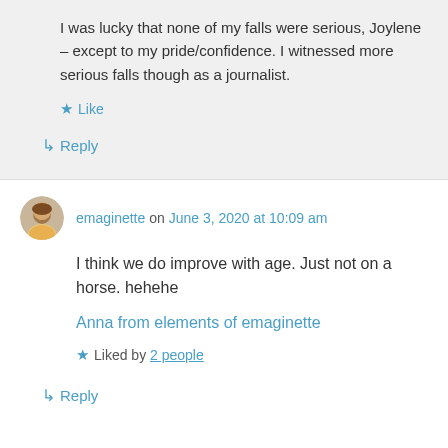I was lucky that none of my falls were serious, Joylene – except to my pride/confidence. I witnessed more serious falls though as a journalist.
Like
Reply
emaginette on June 3, 2020 at 10:09 am
I think we do improve with age. Just not on a horse. hehehe
Anna from elements of emaginette
Liked by 2 people
Reply